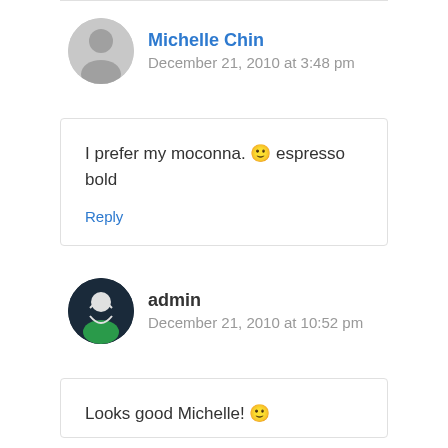Michelle Chin
December 21, 2010 at 3:48 pm
I prefer my moconna. 🙂 espresso bold
Reply
admin
December 21, 2010 at 10:52 pm
Looks good Michelle! 🙂